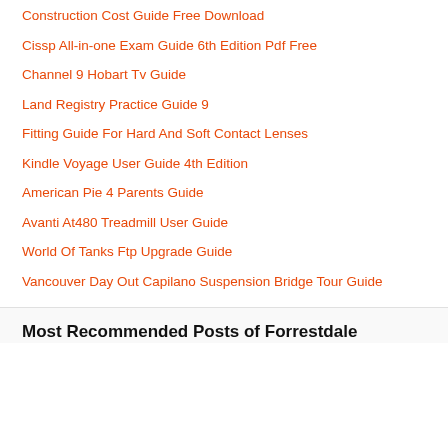Construction Cost Guide Free Download
Cissp All-in-one Exam Guide 6th Edition Pdf Free
Channel 9 Hobart Tv Guide
Land Registry Practice Guide 9
Fitting Guide For Hard And Soft Contact Lenses
Kindle Voyage User Guide 4th Edition
American Pie 4 Parents Guide
Avanti At480 Treadmill User Guide
World Of Tanks Ftp Upgrade Guide
Vancouver Day Out Capilano Suspension Bridge Tour Guide
Most Recommended Posts of Forrestdale